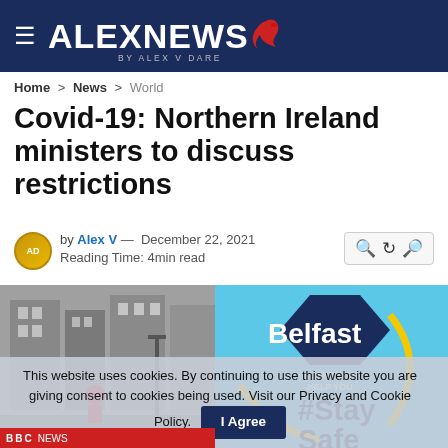ALEXNEWS BY ALEX V DARE
Home > News > World
Covid-19: Northern Ireland ministers to discuss restrictions
by Alex V — December 22, 2021
Reading Time: 4min read
[Figure (photo): Belfast city street scene with a Belfast city council sign reading 'Belfast WORKING TO HELP YOU #Stay Safe']
This website uses cookies. By continuing to use this website you are giving consent to cookies being used. Visit our Privacy and Cookie Policy.